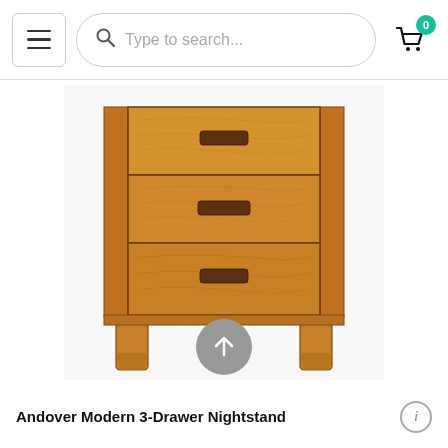Navigation bar with hamburger menu, search bar (Type to search...), and cart icon with badge 0
[Figure (photo): Andover Modern 3-Drawer Nightstand - a wooden nightstand with three drawers, each with a dark rectangular pull handle, sitting on four legs. The wood is a warm medium brown cherry finish with visible wood grain.]
Andover Modern 3-Drawer Nightstand